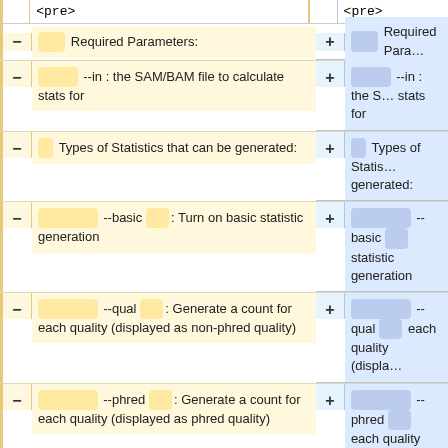<pre>  (left column header)
<pre>  (right column header)
- Required Parameters: (left) / + Required Parameters: (right)
- --in : the SAM/BAM file to calculate stats for (left) / + --in : the SAM/BAM file to calculate stats for (right)
- Types of Statistics that can be generated: (left) / + Types of Statistics that can be generated: (right)
- --basic : Turn on basic statistic generation (left) / + --basic statistic generation (right)
- --qual : Generate a count for each quality (displayed as non-phred quality) (left) / + --qual each quality (displayed...) (right)
- --phred : Generate a count for each quality (displayed as phred quality) (left) / + --phred each quality (displayed...) (right)
- --baseQC : Write per base statistics to the specified file. (left) / + --pBaseQC ... statistics as Percentage ... file. (use - for stdo...) (right)